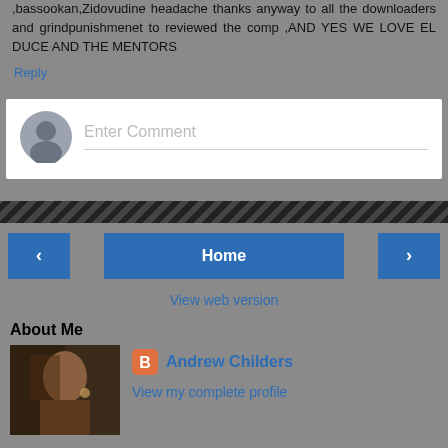,bassookan,Zidovudine headache thanks anyway to all the downloaders and grindpunishmenet to reviewed the comp ,AND YES WE LOVE EL DUCE AND THE MENTORS
Reply
[Figure (screenshot): Enter Comment input box with avatar circle placeholder]
[Figure (infographic): Navigation stripe with left arrow, Home button, and right arrow]
View web version
About Me
[Figure (photo): Profile photo of Andrew Childers]
Andrew Childers
View my complete profile
Powered by Blogger.